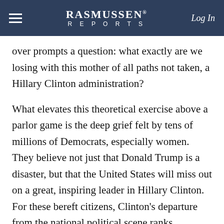Rasmussen Reports — Log In
over prompts a question: what exactly are we losing with this mother of all paths not taken, a Hillary Clinton administration?
What elevates this theoretical exercise above a parlor game is the deep grief felt by tens of millions of Democrats, especially women. They believe not just that Donald Trump is a disaster, but that the United States will miss out on a great, inspiring leader in Hillary Clinton. For these bereft citizens, Clinton's departure from the national political scene ranks alongside those of Adlai Stevenson and Al Gore -- losing